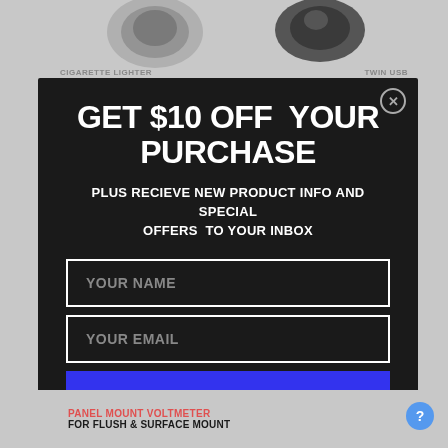[Figure (screenshot): Background of an e-commerce product page showing two product images at top (cigarette lighter and twin USB) and bottom product (panel mount voltmeter). A modal popup overlays the center.]
GET $10 OFF  YOUR PURCHASE
PLUS RECIEVE NEW PRODUCT INFO AND SPECIAL OFFERS  TO YOUR INBOX
YOUR NAME
YOUR EMAIL
SEND MY DISCOUNT
PANEL MOUNT VOLTMETER
FOR FLUSH & SURFACE MOUNT